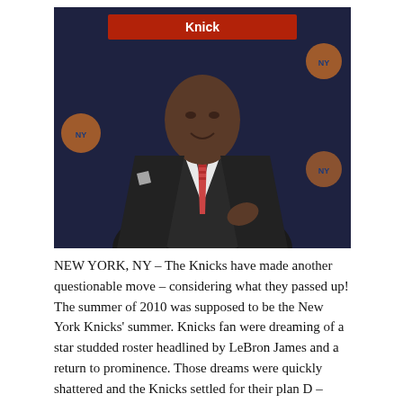[Figure (photo): A man in a dark suit with a pink/red patterned tie seated at what appears to be a press conference table with New York Knicks branding in the background.]
NEW YORK, NY – The Knicks have made another questionable move – considering what they passed up! The summer of 2010 was supposed to be the New York Knicks' summer. Knicks fan were dreaming of a star studded roster headlined by LeBron James and a return to prominence. Those dreams were quickly shattered and the Knicks settled for their plan D – Amar'e Stoudemire. Regardless, there is always a bright light at the end of the tunnel and that light is Isiah Thomas (sarcasm). Thomas has been hired by the Knicks organization as a consultant and the move has been met with more negativity